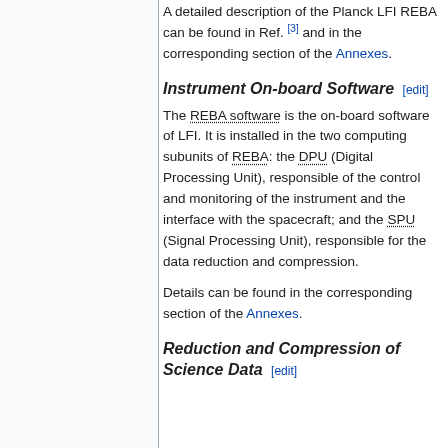A detailed description of the Planck LFI REBA can be found in Ref. [3] and in the corresponding section of the Annexes.
Instrument On-board Software [edit]
The REBA software is the on-board software of LFI. It is installed in the two computing subunits of REBA: the DPU (Digital Processing Unit), responsible of the control and monitoring of the instrument and the interface with the spacecraft; and the SPU (Signal Processing Unit), responsible for the data reduction and compression.
Details can be found in the corresponding section of the Annexes.
Reduction and Compression of Science Data [edit]